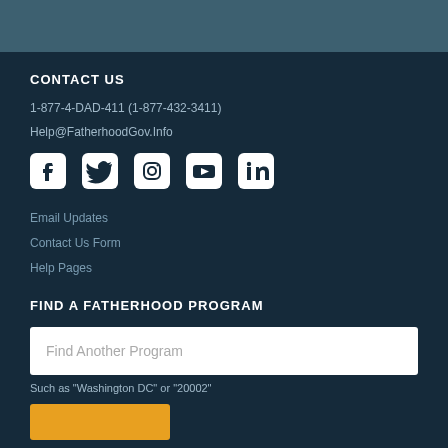CONTACT US
1-877-4-DAD-411 (1-877-432-3411)
Help@FatherhoodGov.Info
[Figure (illustration): Social media icons: Facebook, Twitter, Instagram, YouTube, LinkedIn]
Email Updates
Contact Us Form
Help Pages
FIND A FATHERHOOD PROGRAM
Find Another Program
Such as "Washington DC" or "20002"